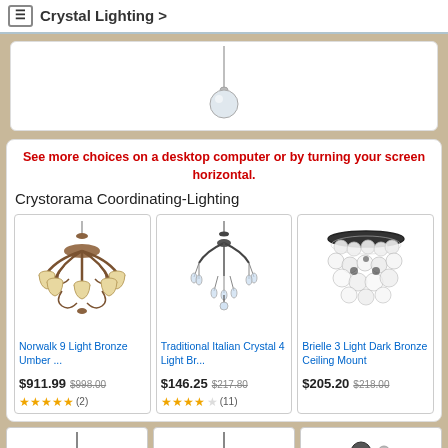Crystal Lighting >
[Figure (photo): Partial pendant crystal light fixture shown from above on white background]
See more choices on a desktop computer or by turning your screen horizontal.
Crystorama Coordinating-Lighting
[Figure (photo): Norwalk 9 Light Bronze Umber chandelier product photo]
Norwalk 9 Light Bronze Umber ...
$911.99  $998.00  ★★★★★ (2)
[Figure (photo): Traditional Italian Crystal 4 Light Br... chandelier product photo]
Traditional Italian Crystal 4 Light Br...
$146.25  $217.80  ★★★★☆ (11)
[Figure (photo): Brielle 3 Light Dark Bronze Ceiling Mount product photo]
Brielle 3 Light Dark Bronze Ceiling Mount
$205.20  $218.00